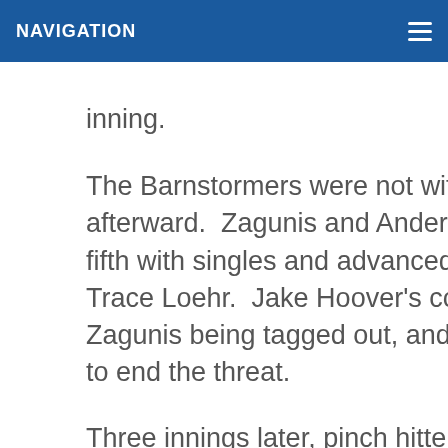NAVIGATION
inning.
The Barnstormers were not without chances afterward.  Zagunis and Anderson Feliz started the fifth with singles and advanced on a sacrifice by Trace Loehr.  Jake Hoover's comebacker resulted in Zagunis being tagged out, and Mercedes flied to left to end the threat.
Three innings later, pinch hitter Connor Lien lined a single off Reyes' glove at short and moved up on Hoover's bunt.  Mercedes was hit by a pitch, but Adrian Almeida struck out Clark and coaxed a pop up by Dugan to end the inning.